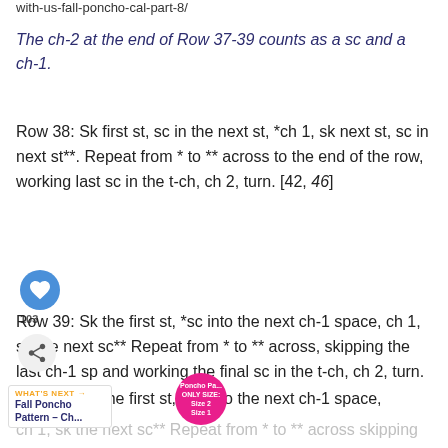with-us-fall-poncho-cal-part-8/
The ch-2 at the end of Row 37-39 counts as a sc and a ch-1.
Row 38: Sk first st, sc in the next st, *ch 1, sk next st, sc in next st**. Repeat from * to ** across to the end of the row, working last sc in the t-ch, ch 2, turn. [42, 46]
Row 39: Sk the first st, *sc into the next ch-1 space, ch 1, sk the next sc** Repeat from * to ** across, skipping the last ch-1 sp and working the final sc in the t-ch, ch 2, turn. [42, 46]
Row 40: Sk the first st, *sc into the next ch-1 space, ch 1, sk the next sc** Repeat from * to ** across skipping the last ch-1 sp and working the final sc